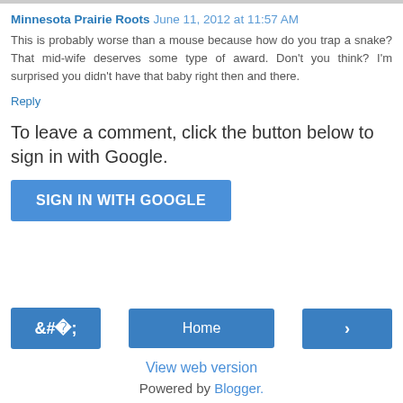Minnesota Prairie Roots  June 11, 2012 at 11:57 AM
This is probably worse than a mouse because how do you trap a snake? That mid-wife deserves some type of award. Don't you think? I'm surprised you didn't have that baby right then and there.
Reply
To leave a comment, click the button below to sign in with Google.
SIGN IN WITH GOOGLE
‹
Home
›
View web version
Powered by Blogger.